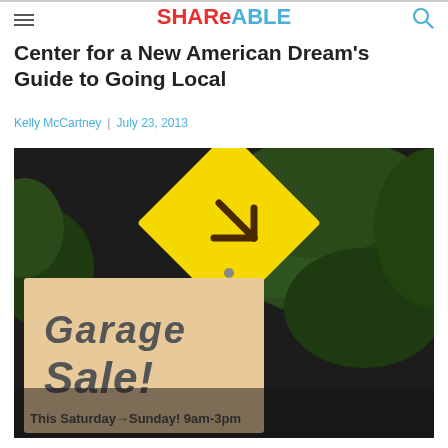SHAREable
Center for a New American Dream's Guide to Going Local
Kelly McCartney  |  July 23, 2013
[Figure (photo): A handwritten garage sale sign on cardboard reading 'Garage Sale! This Saturday→Sunday! 9am-3pm', posted against a yellow diamond-shaped road sign and green trees in the background.]